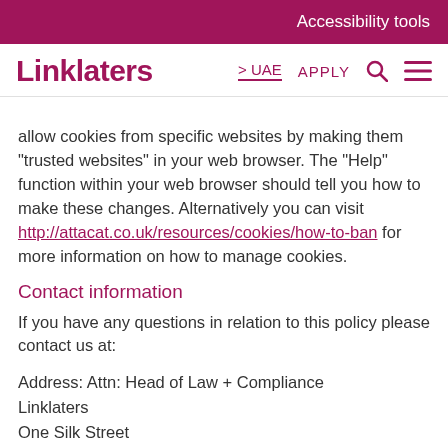Accessibility tools
Linklaters
allow cookies from specific websites by making them "trusted websites" in your web browser. The "Help" function within your web browser should tell you how to make these changes. Alternatively you can visit http://attacat.co.uk/resources/cookies/how-to-ban for more information on how to manage cookies.
Contact information
If you have any questions in relation to this policy please contact us at:
Address: Attn: Head of Law + Compliance
Linklaters
One Silk Street